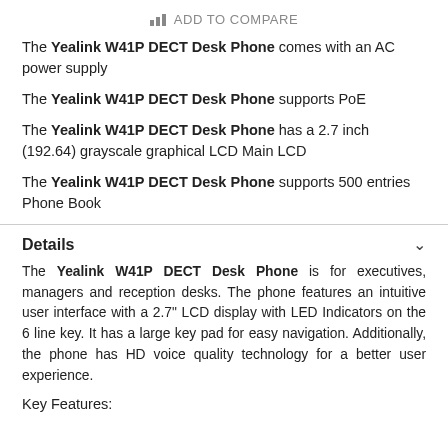ADD TO COMPARE
The Yealink W41P DECT Desk Phone comes with an AC power supply
The Yealink W41P DECT Desk Phone supports PoE
The Yealink W41P DECT Desk Phone has a 2.7 inch (192.64) grayscale graphical LCD Main LCD
The Yealink W41P DECT Desk Phone supports 500 entries Phone Book
Details
The Yealink W41P DECT Desk Phone is for executives, managers and reception desks. The phone features an intuitive user interface with a 2.7" LCD display with LED Indicators on the 6 line key. It has a large key pad for easy navigation. Additionally, the phone has HD voice quality technology for a better user experience.
Key Features: